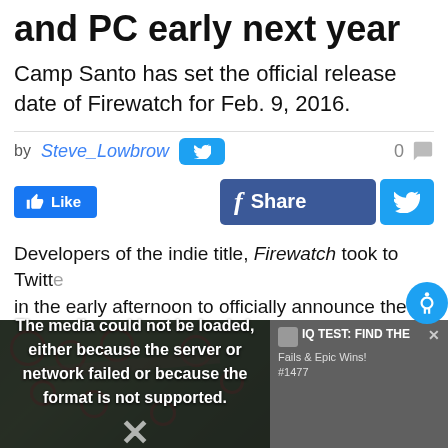and PC early next year
Camp Santo has set the official release date of Firewatch for Feb. 9, 2016.
by Steve_Lowbrow  0
Like  Share
Developers of the indie title, Firewatch took to Twitter in the early afternoon to officially announce the long
[Figure (screenshot): Video media error overlay showing 'The media could not be loaded, either because the server or network failed or because the format is not supported.' with an X symbol. Behind is a game screenshot and an ad overlay with 'IQ TEST: FIND THE Fails & Epic Wins! #1477']